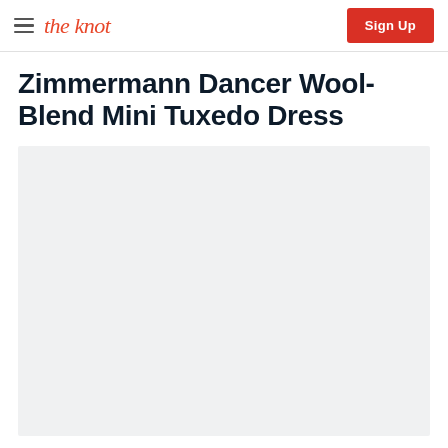the knot | Sign Up
Zimmermann Dancer Wool-Blend Mini Tuxedo Dress
[Figure (photo): Light gray placeholder image area for a product photo of the Zimmermann Dancer Wool-Blend Mini Tuxedo Dress]